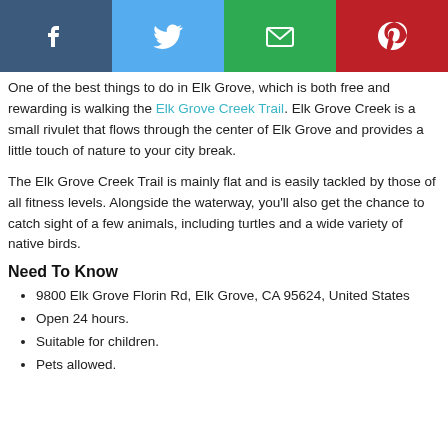[Figure (infographic): Social sharing bar with four buttons: Facebook (dark blue), Twitter (light blue), Email (green), Pinterest (red), each with white icons.]
One of the best things to do in Elk Grove, which is both free and rewarding is walking the Elk Grove Creek Trail. Elk Grove Creek is a small rivulet that flows through the center of Elk Grove and provides a little touch of nature to your city break.
The Elk Grove Creek Trail is mainly flat and is easily tackled by those of all fitness levels. Alongside the waterway, you'll also get the chance to catch sight of a few animals, including turtles and a wide variety of native birds.
Need To Know
9800 Elk Grove Florin Rd, Elk Grove, CA 95624, United States
Open 24 hours.
Suitable for children.
Pets allowed.